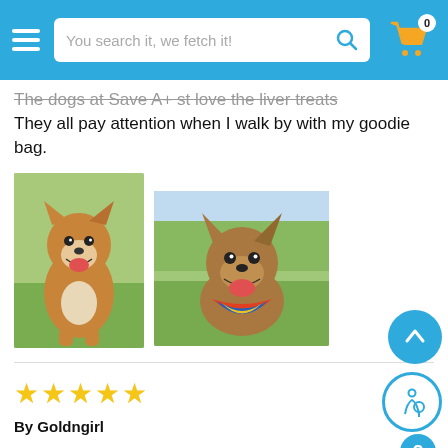[Figure (screenshot): App header with hamburger menu, search bar reading 'You search it, we fetch it!', search icon, and shopping cart icon with badge showing 0]
The dogs at Save A+ st love the liver treats. They all pay attention when I walk by with my goodie bag.
[Figure (photo): Photo of a happy golden/red dog standing on grass, mouth open smiling]
[Figure (photo): Photo of a happy brown dog wearing a colorful bandana, outside on grass]
[Figure (other): Five gold star rating]
By Goldngirl